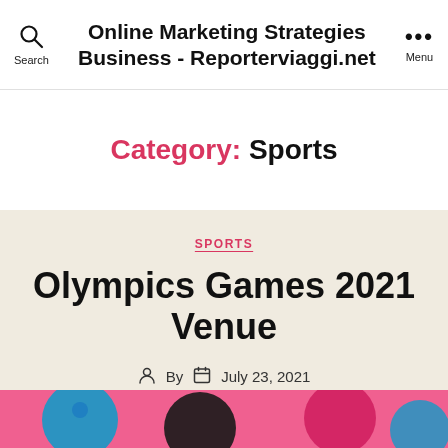Online Marketing Strategies Business - Reporterviaggi.net
Category: Sports
SPORTS
Olympics Games 2021 Venue
By  July 23, 2021
[Figure (photo): Colorful Olympics-themed image strip at the bottom showing Olympic symbols and colors (pink, blue, black)]